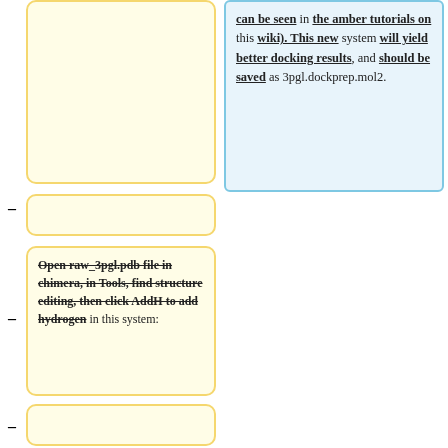can be seen in the amber tutorials on this wiki). This new system will yield better docking results, and should be saved as 3pgl.dockprep.mol2.
[Figure (other): Empty yellow rounded box (left column, top)]
Open raw_3pgl.pdb file in chimera, in Tools, find structure editing, then click AddH to add hydrogen in this system:
[Figure (other): Empty yellow rounded box (left column, middle)]
Also in structure editing, click Add charge, then, changing AMBER ff14SB to AMBER ff99SB and changing net charge to +2.
[Figure (other): Empty yellow rounded box (left column, bottom, partial)]